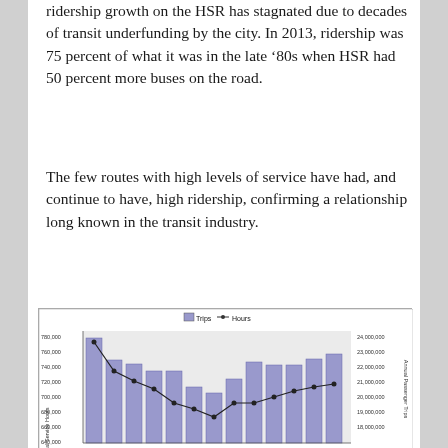ridership growth on the HSR has stagnated due to decades of transit underfunding by the city. In 2013, ridership was 75 percent of what it was in the late '80s when HSR had 50 percent more buses on the road.
The few routes with high levels of service have had, and continue to have, high ridership, confirming a relationship long known in the transit industry.
[Figure (grouped-bar-chart): A combined bar and line chart showing Annual Service Hours (bars, left axis ranging ~642,000 to 780,000) and Annual Passenger Trips (line with markers, right axis ranging ~18,000,000 to 24,000,000) over multiple years. The line trends downward from left to right then slightly recovers at end.]